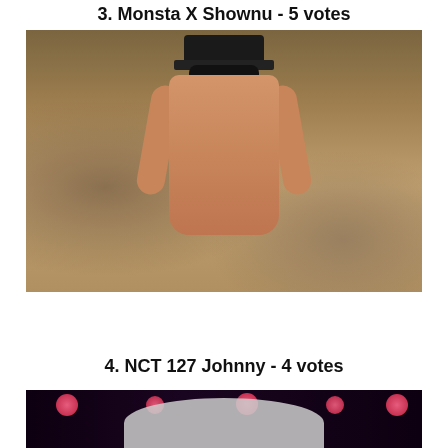3. Monsta X Shownu - 5 votes
[Figure (photo): Shirtless muscular man wearing a black cap/goggles, looking down, outdoors in a dirt/sandy environment]
4. NCT 127 Johnny - 4 votes
[Figure (photo): Dark stage performance photo with pink/red stage lights and hands visible in foreground]